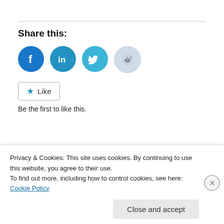Share this:
[Figure (infographic): Social share icons: Facebook (blue circle), LinkedIn (dark cyan circle), Twitter (light blue circle), Reddit (light gray circle with alien logo)]
Like
Be the first to like this.
Related
Privacy & Cookies: This site uses cookies. By continuing to use this website, you agree to their use.
To find out more, including how to control cookies, see here: Cookie Policy
Close and accept